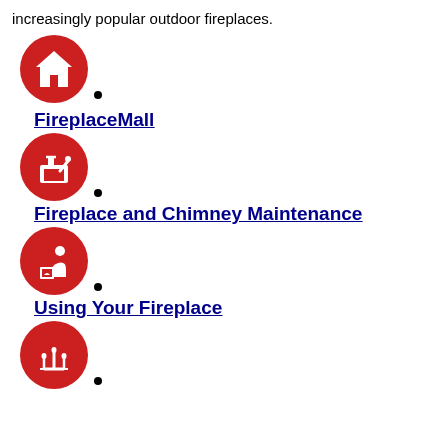increasingly popular outdoor fireplaces.
FireplaceMall
Fireplace and Chimney Maintenance
Using Your Fireplace
[Figure (illustration): Red circular icon with white house/home symbol]
[Figure (illustration): Red circular icon with white fireplace/chimney symbol]
[Figure (illustration): Red circular icon with white person sitting by fireplace symbol]
[Figure (illustration): Red circular icon with white candelabra/fireplace tools symbol (partially visible)]